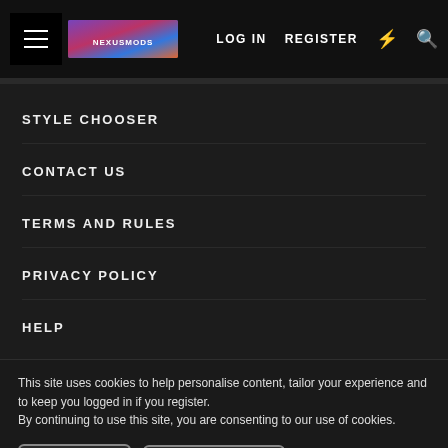LOG IN  REGISTER
STYLE CHOOSER
CONTACT US
TERMS AND RULES
PRIVACY POLICY
HELP
This site uses cookies to help personalise content, tailor your experience and to keep you logged in if you register.
By continuing to use this site, you are consenting to our use of cookies.
✓ ACCEPT   LEARN MORE...